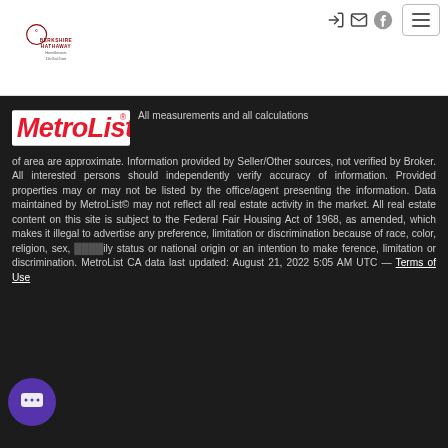Berkshire Hathaway HomeServices Elite Real Estate — navigation header with icons and hamburger menu
[Figure (logo): MetroList logo in red italic text with registered trademark symbol]
All measurements and all calculations of area are approximate. Information provided by Seller/Other sources, not verified by Broker. All interested persons should independently verify accuracy of information. Provided properties may or may not be listed by the office/agent presenting the information. Data maintained by MetroList© may not reflect all real estate activity in the market. All real estate content on this site is subject to the Federal Fair Housing Act of 1968, as amended, which makes it illegal to advertise any preference, limitation or discrimination because of race, color, religion, sex, family status or national origin or an intention to make any preference, limitation or discrimination. MetroList CA data last updated: August 21, 2022 5:05 AM UTC — Terms of Use